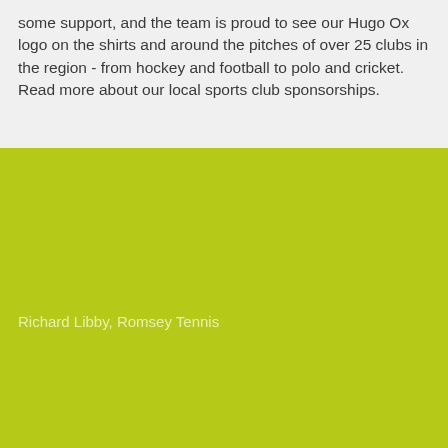some support, and the team is proud to see our Hugo Ox logo on the shirts and around the pitches of over 25 clubs in the region - from hockey and football to polo and cricket. Read more about our local sports club sponsorships.
Richard Libby, Romsey Tennis